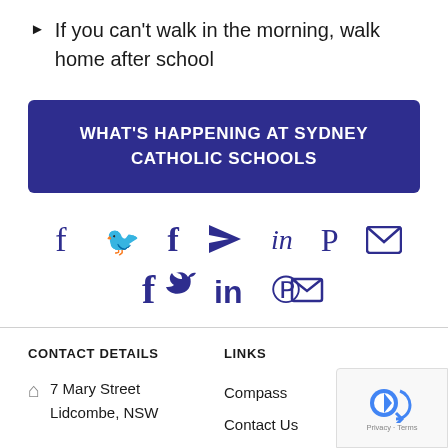If you can't walk in the morning, walk home after school
WHAT'S HAPPENING AT SYDNEY CATHOLIC SCHOOLS
[Figure (other): Social media share icons: Facebook, Twitter, LinkedIn, Pinterest, Email]
CONTACT DETAILS | 7 Mary Street Lidcombe, NSW | LINKS | Compass | Contact Us